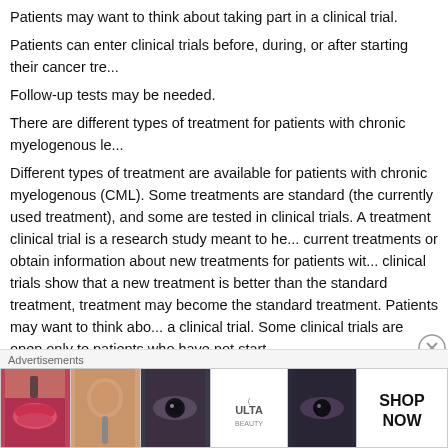Patients may want to think about taking part in a clinical trial.
Patients can enter clinical trials before, during, or after starting their cancer tre...
Follow-up tests may be needed.
There are different types of treatment for patients with chronic myelogenous le...
Different types of treatment are available for patients with chronic myelogenous (CML). Some treatments are standard (the currently used treatment), and some are tested in clinical trials. A treatment clinical trial is a research study meant to help current treatments or obtain information about new treatments for patients with cancer. If clinical trials show that a new treatment is better than the standard treatment, the new treatment may become the standard treatment. Patients may want to think about taking part in a clinical trial. Some clinical trials are open only to patients who have not start...
Six types of standard treatment are used:
Targeted therapy
Targeted therapy is a type of treatment that uses drugs or other substances to attack specific cancer cells without harming normal cells. Tyrosine kinase inhi...
[Figure (other): Advertisement banner for ULTA Beauty with makeup imagery and SHOP NOW call to action]